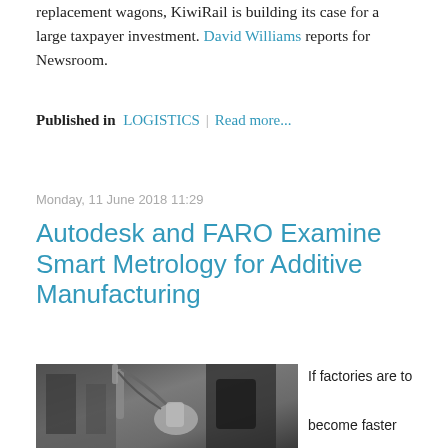replacement wagons, KiwiRail is building its case for a large taxpayer investment. David Williams reports for Newsroom.
Published in  LOGISTICS  |  Read more...
Monday, 11 June 2018 11:29
Autodesk and FARO Examine Smart Metrology for Additive Manufacturing
[Figure (photo): A person operating or examining industrial metrology/scanning equipment in a factory or lab setting. A robotic arm or scanning device is visible in the foreground.]
If factories are to become faster and more flexible,